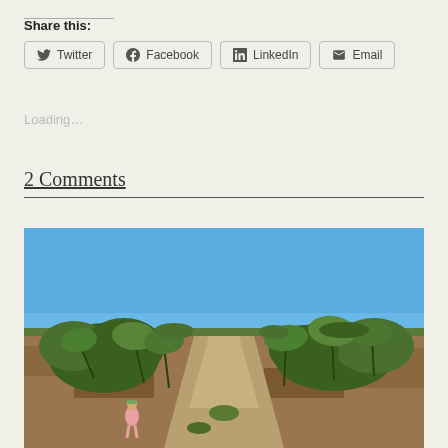Share this:
Twitter | Facebook | LinkedIn | Email
Loading...
2 Comments
[Figure (photo): Outdoor landscape photo showing a dirt/gravel path through scrubland with low palm-like vegetation on both sides, clear blue sky above, and a person in pink clothing standing on the path in the lower left area.]